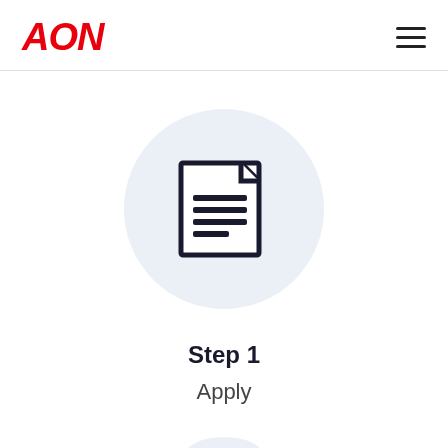AON
[Figure (illustration): Document/file icon with text lines inside a light blue circle, representing an application form]
Step 1
Apply